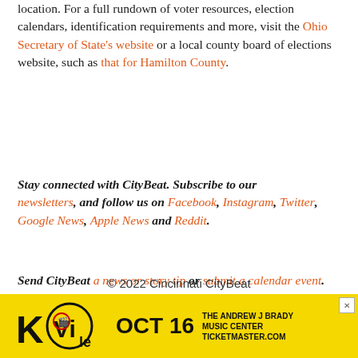location. For a full rundown of voter resources, election calendars, identification requirements and more, visit the Ohio Secretary of State's website or a local county board of elections website, such as that for Hamilton County.
Stay connected with CityBeat. Subscribe to our newsletters, and follow us on Facebook, Instagram, Twitter, Google News, Apple News and Reddit.
Send CityBeat a news or story tip or submit a calendar event.
© 2022 Cincinnati CityBeat
Powered by Foundation
[Figure (photo): Advertisement banner for KidVile event at The Andrew J Brady Music Center on Oct 16, with yellow background and bold text, ticketmaster.com]